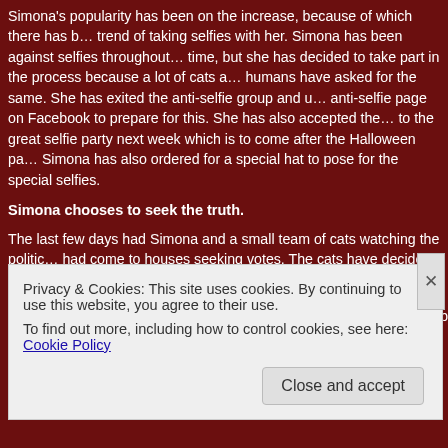Simona's popularity has been on the increase, because of which there has been a trend of taking selfies with her. Simona has been against selfies throughout this time, but she has decided to take part in the process because a lot of cats and humans have asked for the same. She has exited the anti-selfie group and updated the anti-selfie page on Facebook to prepare for this. She has also accepted the invitation to the great selfie party next week which is to come after the Halloween party. Simona has also ordered for a special hat to pose for the special selfies.
Simona chooses to seek the truth.
The last few days had Simona and a small team of cats watching the politicians who had come to houses seeking votes. The cats have decided to make sure that none of the humans in the houses which feed the cats be made fools by false promises. A secure network of cats has been established for the same purpose, and with every visit by these politicians, the cats have decided to warn their favourite people by a special kind of meow. There are special squads for each ward of the municipality b...
Privacy & Cookies: This site uses cookies. By continuing to use this website, you agree to their use. To find out more, including how to control cookies, see here: Cookie Policy